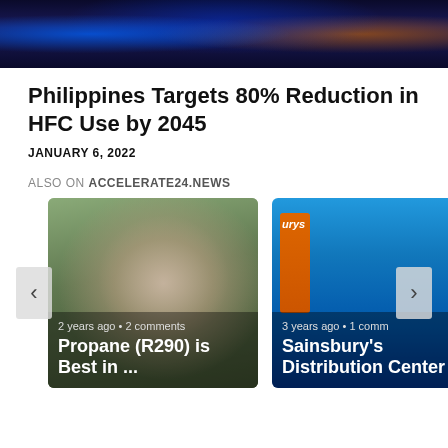[Figure (photo): Top banner image showing a colorful nighttime cityscape with blue and orange lights]
Philippines Targets 80% Reduction in HFC Use by 2045
JANUARY 6, 2022
ALSO ON ACCELERATE24.NEWS
[Figure (photo): Card showing a smiling man with text: 2 years ago • 2 comments / Propane (R290) is Best in ...]
[Figure (photo): Card showing Sainsbury's distribution center with text: 3 years ago • 1 comm / Sainsbury's Distribution Center ...]